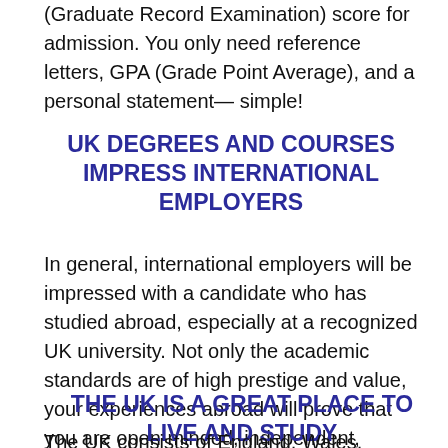(Graduate Record Examination) score for admission. You only need reference letters, GPA (Grade Point Average), and a personal statement— simple!
UK DEGREES AND COURSES IMPRESS INTERNATIONAL EMPLOYERS
In general, international employers will be impressed with a candidate who has studied abroad, especially at a recognized UK university. Not only the academic standards are of high prestige and value, your experiences abroad will prove that you are open-minded, independent, flexible and ready for any challenge!
THE UK IS A GREAT PLACE TO LIVE AND STUDY
The UK consists of England, Wales, Northern Ireland